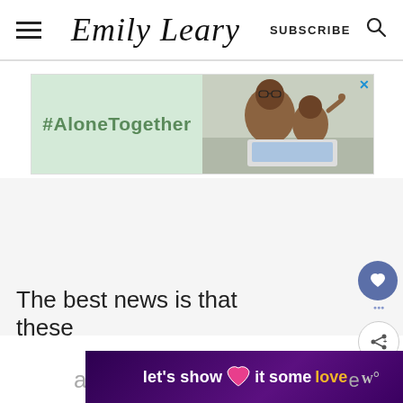Emily Leary — SUBSCRIBE
[Figure (screenshot): #AloneTogether advertisement banner with a photo of a father and daughter video calling]
[Figure (screenshot): White/gray space area below ad (content loading area)]
The best news is that these
[Figure (infographic): Purple gradient banner with text: let's show it some love, with a pink heart graphic]